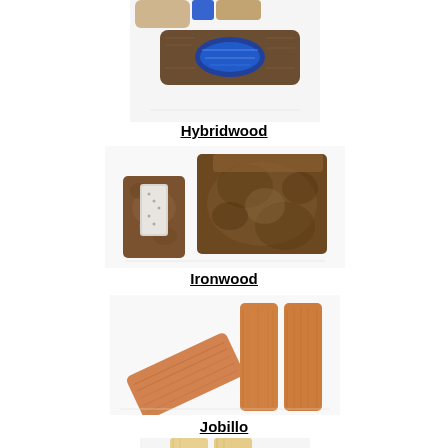[Figure (photo): Hybridwood knife scales or blanks showing blue resin and wood material, top of page (partially cropped)]
Hybridwood
[Figure (photo): Ironwood knife handle scales and blocks showing rich brown burl/figured grain patterns]
Ironwood
[Figure (photo): Jobillo wood knife handle scales showing warm orange-brown wood pieces]
Jobillo
[Figure (photo): Partial view of next wood type's handle blanks at bottom of page, light yellow wood]